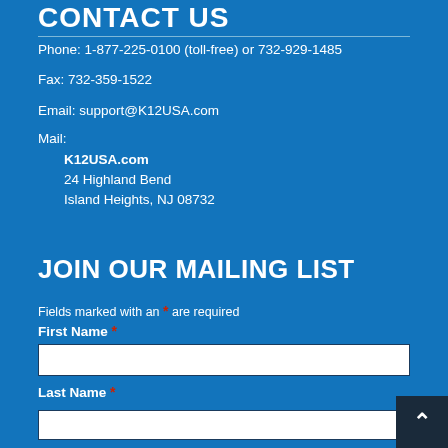CONTACT US
Phone: 1-877-225-0100 (toll-free) or 732-929-1485
Fax: 732-359-1522
Email: support@K12USA.com
Mail:
K12USA.com
24 Highland Bend
Island Heights, NJ 08732
JOIN OUR MAILING LIST
Fields marked with an * are required
First Name *
Last Name *